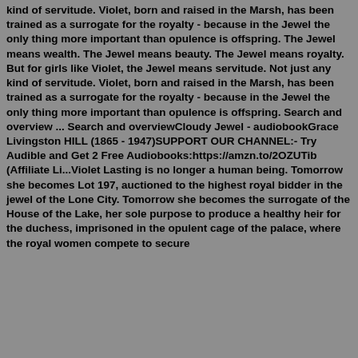kind of servitude. Violet, born and raised in the Marsh, has been trained as a surrogate for the royalty - because in the Jewel the only thing more important than opulence is offspring. The Jewel means wealth. The Jewel means beauty. The Jewel means royalty. But for girls like Violet, the Jewel means servitude. Not just any kind of servitude. Violet, born and raised in the Marsh, has been trained as a surrogate for the royalty - because in the Jewel the only thing more important than opulence is offspring. Search and overview ... Search and overviewCloudy Jewel - audiobookGrace Livingston HILL (1865 - 1947)SUPPORT OUR CHANNEL:- Try Audible and Get 2 Free Audiobooks:https://amzn.to/2OZUTib (Affiliate Li...Violet Lasting is no longer a human being. Tomorrow she becomes Lot 197, auctioned to the highest royal bidder in the jewel of the Lone City. Tomorrow she becomes the surrogate of the House of the Lake, her sole purpose to produce a healthy heir for the duchess, imprisoned in the opulent cage of the palace, where the royal women compete to secure